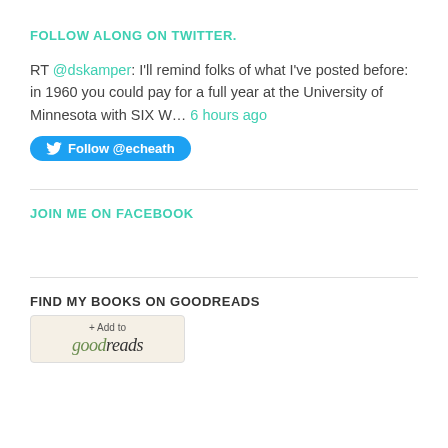FOLLOW ALONG ON TWITTER.
RT @dskamper: I'll remind folks of what I've posted before: in 1960 you could pay for a full year at the University of Minnesota with SIX W… 6 hours ago
[Figure (other): Twitter Follow button for @echeath]
JOIN ME ON FACEBOOK
FIND MY BOOKS ON GOODREADS
[Figure (logo): Goodreads Add to goodreads button with logo]